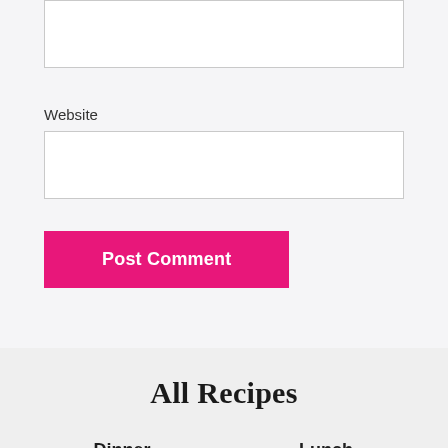[Figure (screenshot): Top portion showing a partially visible text input box (no label visible), a Website label with its input box below, and a pink 'Post Comment' button.]
Website
Post Comment
All Recipes
Dinner
Lunch
Breakfast
Desserts
Appetizers
Healthy